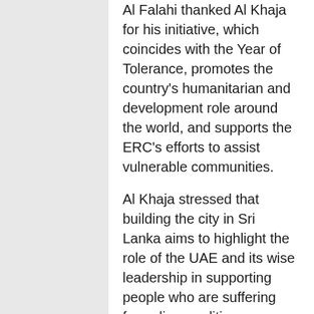Al Falahi thanked Al Khaja for his initiative, which coincides with the Year of Tolerance, promotes the country's humanitarian and development role around the world, and supports the ERC's efforts to assist vulnerable communities.
Al Khaja stressed that building the city in Sri Lanka aims to highlight the role of the UAE and its wise leadership in supporting people who are suffering from dire conditions.
The Sri Lankan officials stated that the launch of the city reflects the strong bilateral ties between the UAE and Sri Lanka, and highlights the UAE's generous support for the Sri Lankan people.
The beneficiaries thanked the UAE for supporting them.